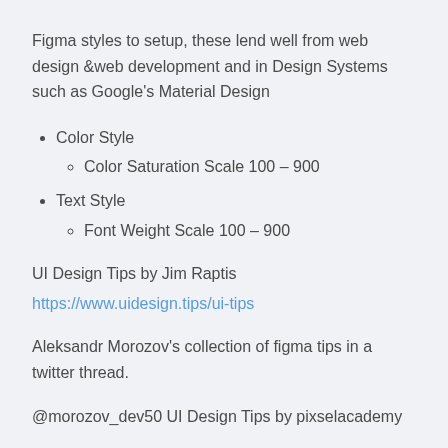Figma styles to setup, these lend well from web design &web development and in Design Systems such as Google's Material Design
Color Style
Color Saturation Scale 100 – 900
Text Style
Font Weight Scale 100 – 900
UI Design Tips by Jim Raptis
https://www.uidesign.tips/ui-tips
Aleksandr Morozov's collection of figma tips in a twitter thread.
@morozov_dev50 UI Design Tips by pixselacademy